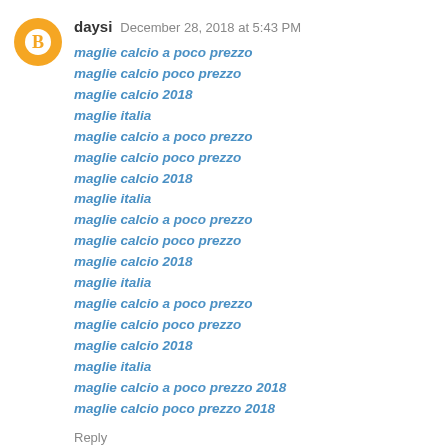daysi  December 28, 2018 at 5:43 PM
maglie calcio a poco prezzo
maglie calcio poco prezzo
maglie calcio 2018
maglie italia
maglie calcio a poco prezzo
maglie calcio poco prezzo
maglie calcio 2018
maglie italia
maglie calcio a poco prezzo
maglie calcio poco prezzo
maglie calcio 2018
maglie italia
maglie calcio a poco prezzo
maglie calcio poco prezzo
maglie calcio 2018
maglie italia
maglie calcio a poco prezzo 2018
maglie calcio poco prezzo 2018
Reply